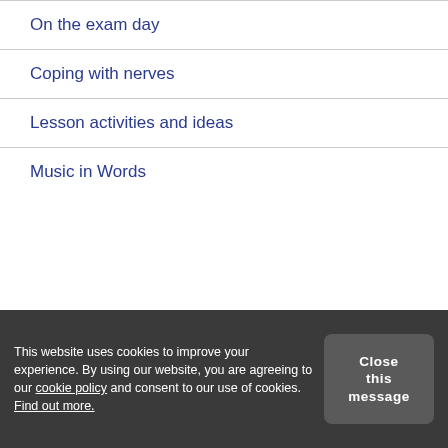On the exam day
Coping with nerves
Lesson activities and ideas
Music in Words
Welcome to Piano
[Figure (screenshot): Tablet/iPad showing a web application interface with a blue header bar and white content area with text reading 'What's the difference? There are 2 differences.' and a 'Reply' button.]
This website uses cookies to improve your experience. By using our website, you are agreeing to our cookie policy and consent to our use of cookies. Find out more.
Close this message